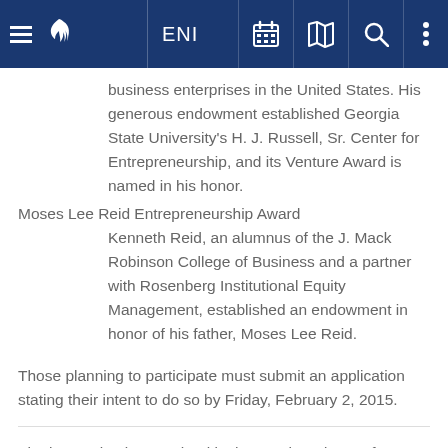ENI
business enterprises in the United States. His generous endowment established Georgia State University's H. J. Russell, Sr. Center for Entrepreneurship, and its Venture Award is named in his honor.
Moses Lee Reid Entrepreneurship Award
Kenneth Reid, an alumnus of the J. Mack Robinson College of Business and a partner with Rosenberg Institutional Equity Management, established an endowment in honor of his father, Moses Lee Reid.
Those planning to participate must submit an application stating their intent to do so by Friday, February 2, 2015.
The largest business school in the South and part of a